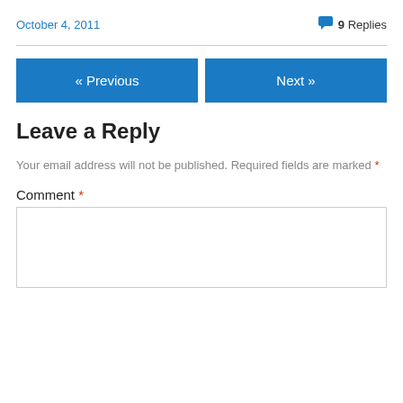October 4, 2011
9 Replies
« Previous
Next »
Leave a Reply
Your email address will not be published. Required fields are marked *
Comment *